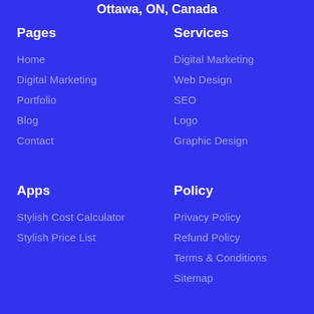Ottawa, ON, Canada
Pages
Home
Digital Marketing
Portfolio
Blog
Contact
Services
Digital Marketing
Web Design
SEO
Logo
Graphic Design
Apps
Stylish Cost Calculator
Stylish Price List
Policy
Privacy Policy
Refund Policy
Terms & Conditions
Sitemap